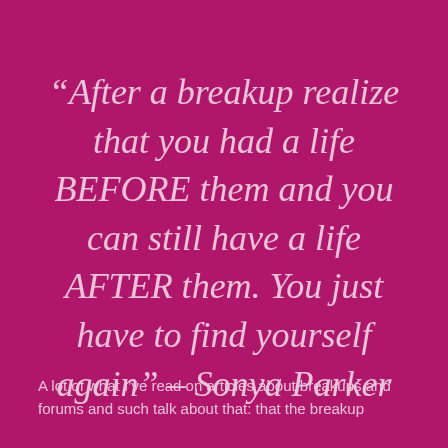“After a breakup realize that you had a life BEFORE them and you can still have a life AFTER them. You just have to find yourself again” – Sonya Parker
A lot of what I’ve read on articles about breakups and forums and such talk about that: that the breakup